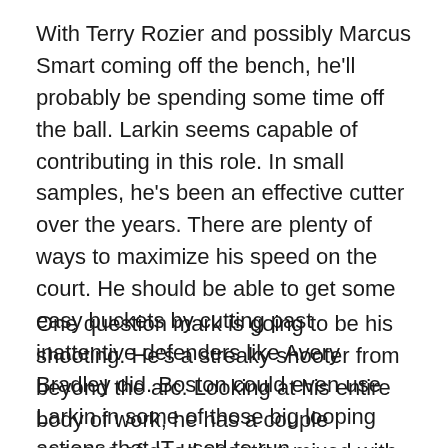With Terry Rozier and possibly Marcus Smart coming off the bench, he'll probably be spending some time off the ball. Larkin seems capable of contributing in this role. In small samples, he's been an effective cutter over the years. There are plenty of ways to maximize his speed on the court. He should be able to get some easy buckets by cutting past inattentive defenders like Avery Bradley did. Boston could even use Larkin in some of those big looping actions that IT used to run.
One question mark is going to be his shooting. He's a streaky shooter from beyond the arc. Looking at his entire body of work, he has a couple seasons of good shooting mixed with a couple of subpar ones. He wasn't shy about firing away from deep last season, posting a career high in 3PA per game. But he only made 33.8% percent of them. He does take plenty of